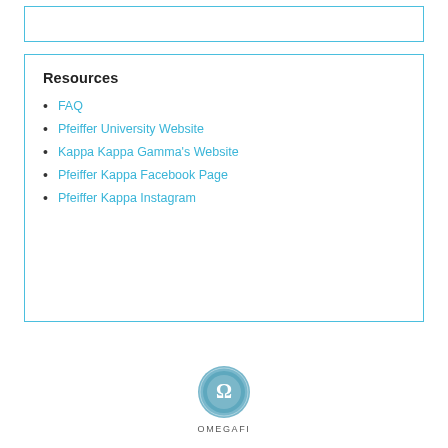Resources
FAQ
Pfeiffer University Website
Kappa Kappa Gamma's Website
Pfeiffer Kappa Facebook Page
Pfeiffer Kappa Instagram
[Figure (logo): OmegaFi logo: circular emblem with omega symbol, text OMEGAFI below]